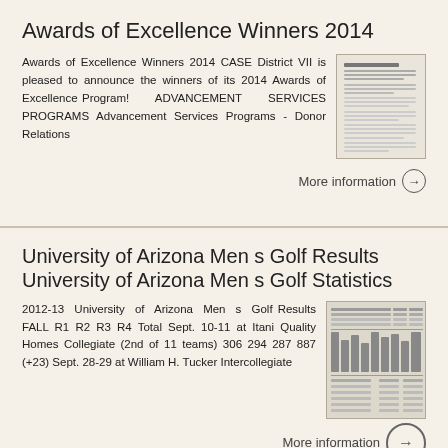Awards of Excellence Winners 2014
Awards of Excellence Winners 2014 CASE District VII is pleased to announce the winners of its 2014 Awards of Excellence Program! ADVANCEMENT SERVICES PROGRAMS Advancement Services Programs - Donor Relations
More information →
University of Arizona Men s Golf Results University of Arizona Men s Golf Statistics
2012-13 University of Arizona Men s Golf Results FALL R1 R2 R3 R4 Total Sept. 10-11 at Itani Quality Homes Collegiate (2nd of 11 teams) 306 294 287 887 (+23) Sept. 28-29 at William H. Tucker Intercollegiate
More information →